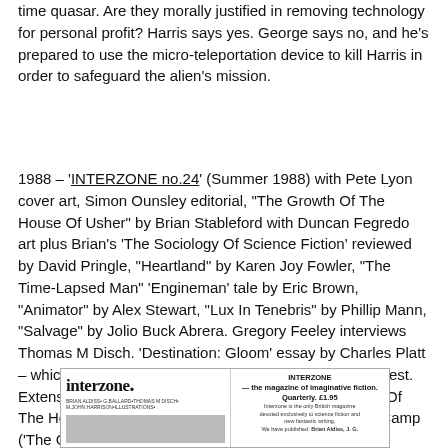time quasar. Are they morally justified in removing technology for personal profit? Harris says yes. George says no, and he's prepared to use the micro-teleportation device to kill Harris in order to safeguard the alien's mission.
1988 – 'INTERZONE no.24' (Summer 1988) with Pete Lyon cover art, Simon Ounsley editorial, "The Growth Of The House Of Usher" by Brian Stableford with Duncan Fegredo art plus Brian's 'The Sociology Of Science Fiction' reviewed by David Pringle, "Heartland" by Karen Joy Fowler, "The Time-Lapsed Man" 'Engineman' tale by Eric Brown, "Animator" by Alex Stewart, "Lux In Tenebris" by Phillip Mann, "Salvage" by Jolio Buck Abrera. Gregory Feeley interviews Thomas M Disch. 'Destination: Gloom' essay by Charles Platt – which will be answered in 'IZ no.26' by Christopher Priest. Extensive reviews including Frederik Pohl ('The Annals Of The Heechee'), Stephen King ('Misery'), L Sprague de Camp ('The Goblin Tower').
[Figure (photo): Scan of Interzone magazine cover/advertisement showing the Interzone logo on the left and descriptive text about the magazine on the right.]